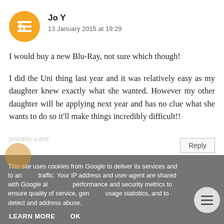Jo Y
13 January 2015 at 19:29
I would buy a new Blu-Ray, not sure which though!
I did the Uni thing last year and it was relatively easy as my daughter knew exactly what she wanted. However my other daughter will be applying next year and has no clue what she wants to do so it'll make things incredibly difficult!!
Reply
This site uses cookies from Google to deliver its services and to analyze traffic. Your IP address and user-agent are shared with Google along with performance and security metrics to ensure quality of service, generate usage statistics, and to detect and address abuse.
LEARN MORE
OK